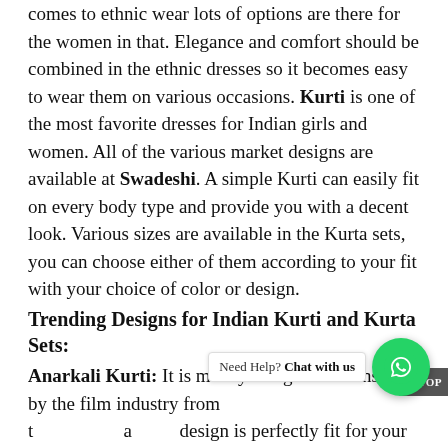comes to ethnic wear lots of options are there for the women in that. Elegance and comfort should be combined in the ethnic dresses so it becomes easy to wear them on various occasions. Kurti is one of the most favorite dresses for Indian girls and women. All of the various market designs are available at Swadeshi. A simple Kurti can easily fit on every body type and provide you with a decent look. Various sizes are available in the Kurta sets, you can choose either of them according to your fit with your choice of color or design.
Trending Designs for Indian Kurti and Kurta Sets:
Anarkali Kurti: It is mostly designed and inspired by the film industry from t … a … design is perfectly fit for your waist until from the top and flared downwards.